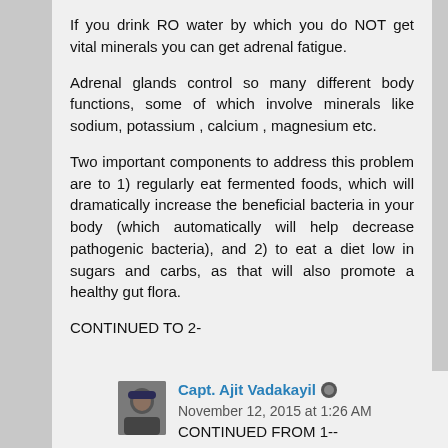If you drink RO water by which you do NOT get vital minerals you can get adrenal fatigue.
Adrenal glands control so many different body functions, some of which involve minerals like sodium, potassium , calcium , magnesium etc.
Two important components to address this problem are to 1) regularly eat fermented foods, which will dramatically increase the beneficial bacteria in your body (which automatically will help decrease pathogenic bacteria), and 2) to eat a diet low in sugars and carbs, as that will also promote a healthy gut flora.
CONTINUED TO 2-
Capt. Ajit Vadakayil November 12, 2015 at 1:26 AM
CONTINUED FROM 1--